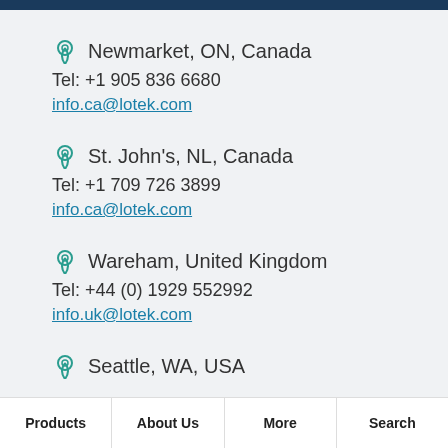Newmarket, ON, Canada
Tel: +1 905 836 6680
info.ca@lotek.com
St. John's, NL, Canada
Tel: +1 709 726 3899
info.ca@lotek.com
Wareham, United Kingdom
Tel: +44 (0) 1929 552992
info.uk@lotek.com
Seattle, WA, USA
Products | About Us | More | Search